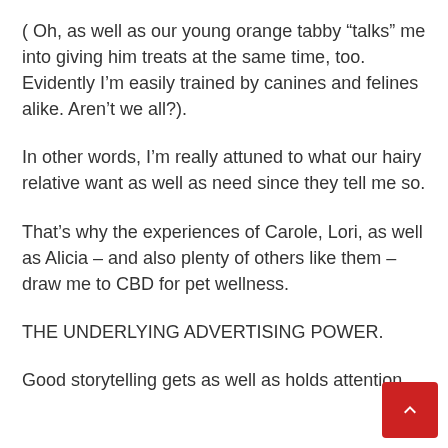( Oh, as well as our young orange tabby “talks” me into giving him treats at the same time, too. Evidently I’m easily trained by canines and felines alike. Aren’t we all?).
In other words, I’m really attuned to what our hairy relative want as well as need since they tell me so.
That’s why the experiences of Carole, Lori, as well as Alicia – and also plenty of others like them – draw me to CBD for pet wellness.
THE UNDERLYING ADVERTISING POWER.
Good storytelling gets as well as holds attention.